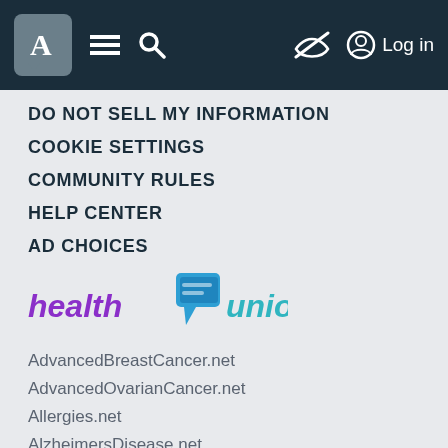Navigation bar with logo A, menu icon, search icon, hide icon, Log in
DO NOT SELL MY INFORMATION
COOKIE SETTINGS
COMMUNITY RULES
HELP CENTER
AD CHOICES
[Figure (logo): Health Union logo with purple 'health', blue speech bubble icon, and teal 'union' text]
AdvancedBreastCancer.net
AdvancedOvarianCancer.net
Allergies.net
AlzheimersDisease.net
AnkylosingSpondylitis.net